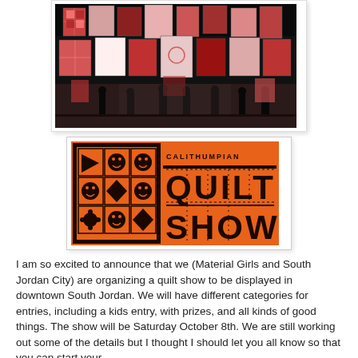[Figure (photo): Indoor quilt show with many colorful quilts hanging from the ceiling and walls in a large exhibition hall, with silhouettes of people walking below.]
[Figure (illustration): Calithumpian Quilt Show logo: orange background with a 3x3 grid of Halloween-themed quilt blocks (pumpkins and diamonds) on the left, and large bold text reading CALITHUMPIAN QUILT SHOW on the right.]
I am so excited to announce that we (Material Girls and South Jordan City) are organizing a quilt show to be displayed in downtown South Jordan.  We will have different categories for entries, including a kids entry,  with prizes, and all kinds of good things.  The show will be Saturday October 8th.  We are still working out some of the details but I thought I should let you all know so that you can start your